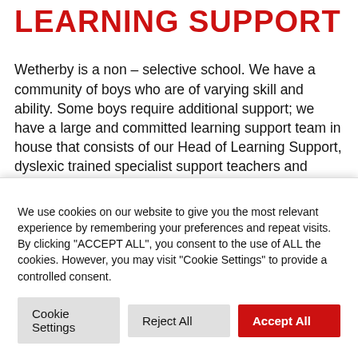LEARNING SUPPORT
Wetherby is a non – selective school. We have a community of boys who are of varying skill and ability. Some boys require additional support; we have a large and committed learning support team in house that consists of our Head of Learning Support, dyslexic trained specialist support teachers and speech and language therapists. We also have strong links to outside agencies and regularly
We use cookies on our website to give you the most relevant experience by remembering your preferences and repeat visits. By clicking "ACCEPT ALL", you consent to the use of ALL the cookies. However, you may visit "Cookie Settings" to provide a controlled consent.